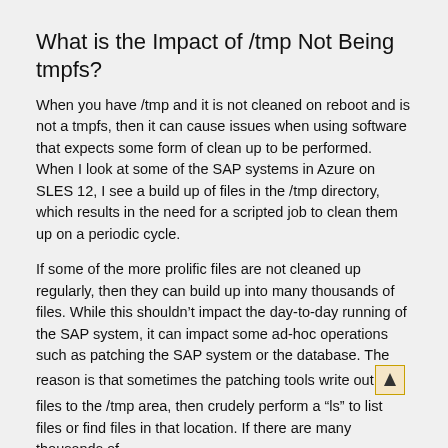What is the Impact of /tmp Not Being tmpfs?
When you have /tmp and it is not cleaned on reboot and is not a tmpfs, then it can cause issues when using software that expects some form of clean up to be performed. When I look at some of the SAP systems in Azure on SLES 12, I see a build up of files in the /tmp directory, which results in the need for a scripted job to clean them up on a periodic cycle.
If some of the more prolific files are not cleaned up regularly, then they can build up into many thousands of files. While this shouldn’t impact the day-to-day running of the SAP system, it can impact some ad-hoc operations such as patching the SAP system or the database. The reason is that sometimes the patching tools write out files to the /tmp area, then crudely perform a “ls” to list files or find files in that location. If there are many thousands of